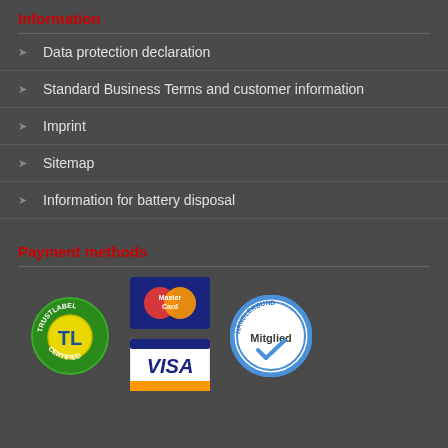Information
Data protection declaration
Standard Business Terms and customer information
Imprint
Sitemap
Information for battery disposal
Payment methods
[Figure (logo): TrustLabel Certified green circular badge with TL letters in yellow]
[Figure (logo): MasterCard logo with overlapping red and orange circles]
[Figure (logo): VISA logo in blue and gold on white background]
[Figure (logo): Händlerbund Mitglied circular badge in blue and white]